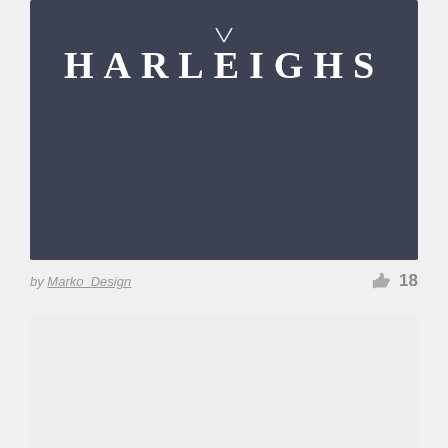[Figure (logo): Harleighs logo on dark blue-grey background. White text 'HARLEIGHS' in wide-spaced serif/display font with a decorative element above the letter A.]
by Marko_Design
18
[Figure (other): Light grey blank card/image placeholder at bottom of page.]